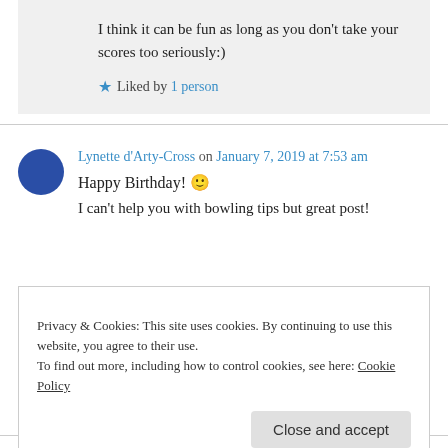I think it can be fun as long as you don't take your scores too seriously:)
★ Liked by 1 person
Lynette d'Arty-Cross on January 7, 2019 at 7:53 am
Happy Birthday! 🙂
I can't help you with bowling tips but great post!
Privacy & Cookies: This site uses cookies. By continuing to use this website, you agree to their use.
To find out more, including how to control cookies, see here: Cookie Policy